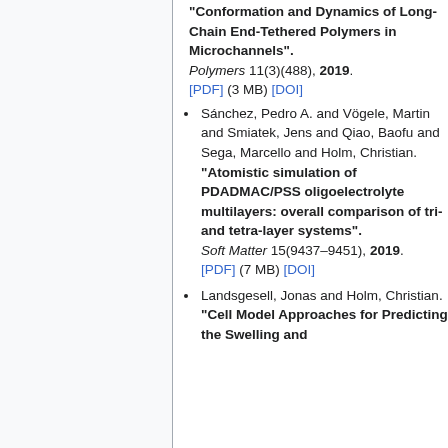"Conformation and Dynamics of Long-Chain End-Tethered Polymers in Microchannels". Polymers 11(3)(488), 2019. [PDF] (3 MB) [DOI]
Sánchez, Pedro A. and Vögele, Martin and Smiatek, Jens and Qiao, Baofu and Sega, Marcello and Holm, Christian. "Atomistic simulation of PDADMAC/PSS oligoelectrolyte multilayers: overall comparison of tri- and tetra-layer systems". Soft Matter 15(9437–9451), 2019. [PDF] (7 MB) [DOI]
Landsgesell, Jonas and Holm, Christian. "Cell Model Approaches for Predicting the Swelling and